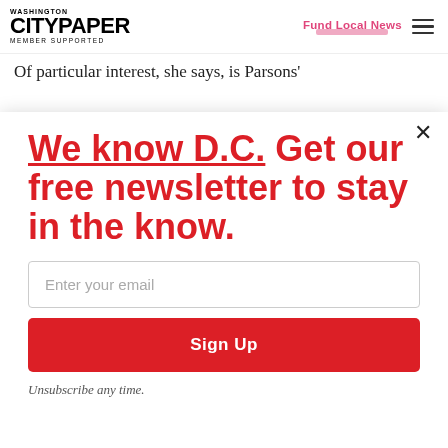Washington City Paper — Member Supported | Fund Local News
Of particular interest, she says, is Parsons'
We know D.C. Get our free newsletter to stay in the know.
Enter your email
Sign Up
Unsubscribe any time.